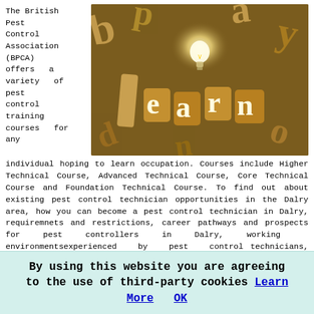The British Pest Control Association (BPCA) offers a variety of pest control training courses for any individual hoping to learn occupation. Courses include Higher Technical Course, Advanced Technical Course, Core Technical Course and Foundation Technical Course. To find out about existing pest control technician opportunities in the Dalry area, how you can become a pest control technician in Dalry, requiremnets and restrictions, career pathways and prospects for pest controllers in Dalry, working environmentsexperienced by pest control technicians, what wages you can expect to get as a pest controller, how to find a trainee pest control position in Dalry and what expertise is required to be a pest control
[Figure (photo): Wooden letter tiles spelling 'learn' on a wooden surface with a glowing light bulb in the center, concept of learning and ideas]
By using this website you are agreeing to the use of third-party cookies Learn More OK